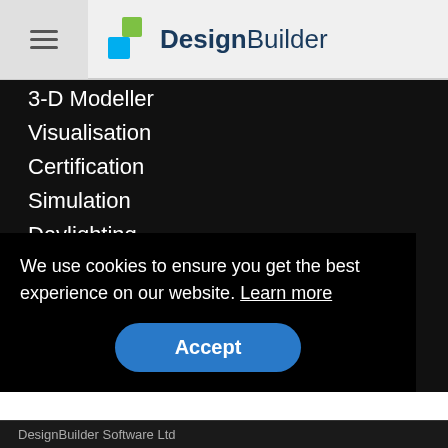[Figure (logo): DesignBuilder logo with hamburger menu button. Logo shows two overlapping squares in blue and green colors with the text 'DesignBuilder' in dark blue bold font.]
3-D Modeller
Visualisation
Certification
Simulation
Daylighting
HVAC
Cost
LEED
Optimisation
We use cookies to ensure you get the best experience on our website. Learn more
DesignBuilder Software Ltd